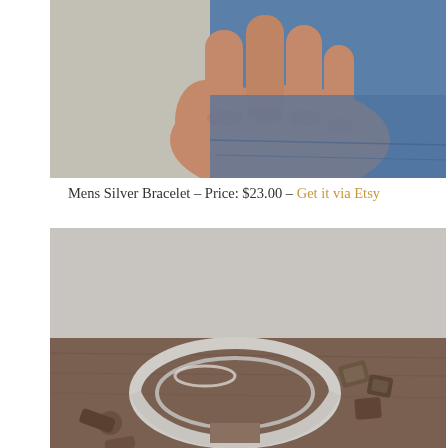[Figure (photo): Close-up photo of a man's hand gripping the pocket area of blue denim jeans, showing knuckles and fingers against a muted beige/grey background.]
Mens Silver Bracelet – Price: $23.00 – Get it via Etsy
[Figure (photo): Close-up photo of a silver cuff bracelet laying on a rustic brown surface alongside scattered wooden beads or small nuts and hardware pieces, with a blurred grey background.]